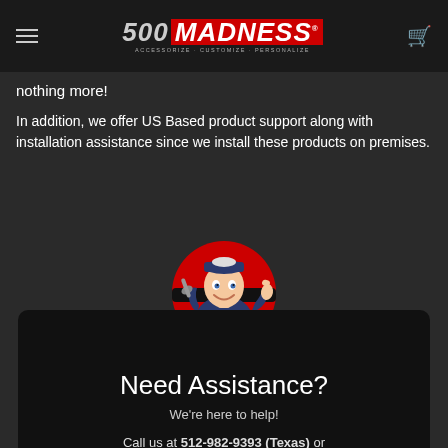500 MADNESS — ACCESSORIZE · CUSTOMIZE · PERSONALIZE
nothing more!
In addition, we offer US Based product support along with installation assistance since we install these products on premises.
[Figure (illustration): Cartoon mechanic in navy uniform holding a wrench with thumbs up, inside a red circle]
Need Assistance?
We're here to help!
Call us at 512-982-9393 (Texas) or 562-981-6800 (California)